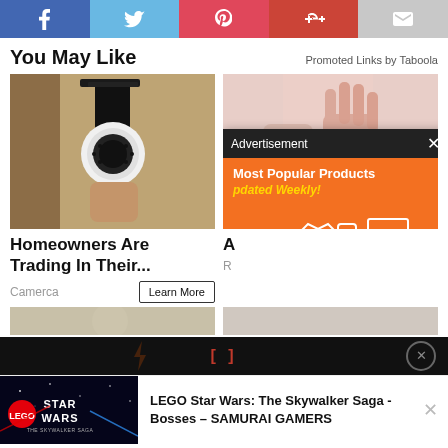[Figure (infographic): Social media sharing buttons: Facebook (blue), Twitter (light blue), Pinterest (red-pink), Google+ (red), Email (gray)]
You May Like
Promoted Links by Taboola
[Figure (photo): Security camera mounted on exterior wall of a house]
Homeowners Are Trading In Their...
Camerca
[Figure (photo): Elderly person's hands, one raised in a stopping or pain gesture]
[Figure (infographic): Advertisement overlay popup: dark header bar with 'Advertisement' label and X close button. Orange background with 'Most Popular Products' and 'Updated Weekly!' text, with shopping icons illustration.]
[Figure (infographic): Black bar with red bracket symbol [] and circular X button]
[Figure (screenshot): LEGO Star Wars: The Skywalker Saga game notification bar with dark space background and LEGO Star Wars logo on left]
LEGO Star Wars: The Skywalker Saga - Bosses – SAMURAI GAMERS